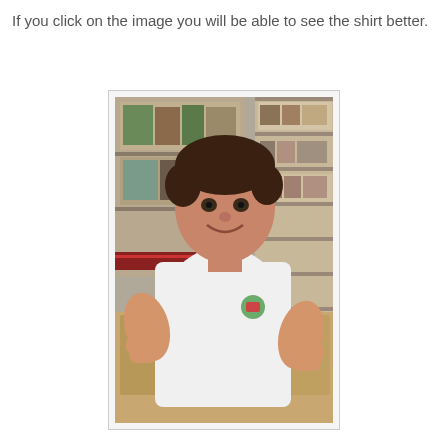If you click on the image you will be able to see the shirt better.
[Figure (photo): A young boy wearing a white t-shirt with a small graphic/logo on it, giving two thumbs up. He is standing in front of shelves filled with various items (books, boxes, craft supplies). The background shows a room with wood-colored cabinets.]